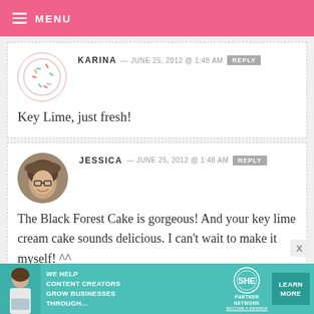MENU
KARINA — JUNE 25, 2012 @ 1:48 AM  REPLY
Key Lime, just fresh!
JESSICA — JUNE 25, 2012 @ 1:48 AM  REPLY
The Black Forest Cake is gorgeous! And your key lime cream cake sounds delicious. I can't wait to make it myself! ^^
[Figure (infographic): SHE partner network advertisement banner: 'We help content creators grow businesses through... LEARN MORE']